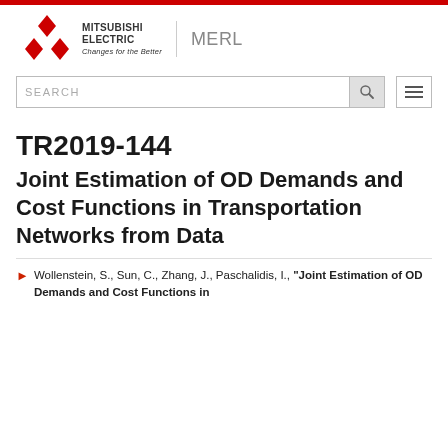[Figure (logo): Mitsubishi Electric logo with diamond/triangle symbol and 'Changes for the Better' tagline, alongside MERL text]
TR2019-144
Joint Estimation of OD Demands and Cost Functions in Transportation Networks from Data
Wollenstein, S., Sun, C., Zhang, J., Paschalidis, I., "Joint Estimation of OD Demands and Cost Functions in